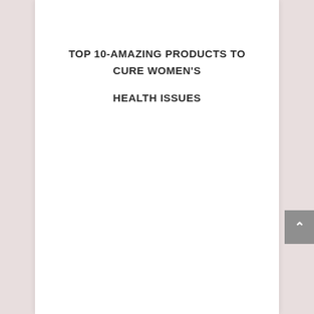TOP 10-AMAZING PRODUCTS TO CURE WOMEN'S HEALTH ISSUES